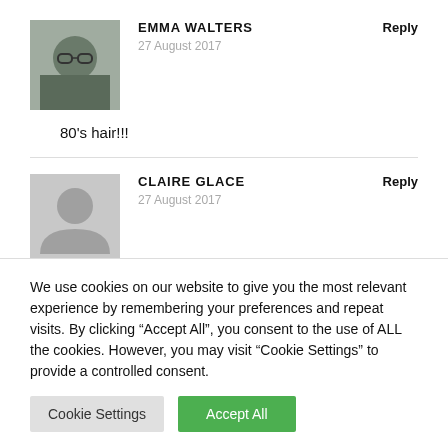[Figure (photo): Avatar photo of Emma Walters showing a person with glasses holding a baby]
EMMA WALTERS
27 August 2017
Reply
80's hair!!!
[Figure (illustration): Generic grey silhouette avatar placeholder for Claire Glace]
CLAIRE GLACE
27 August 2017
Reply
We use cookies on our website to give you the most relevant experience by remembering your preferences and repeat visits. By clicking “Accept All”, you consent to the use of ALL the cookies. However, you may visit "Cookie Settings" to provide a controlled consent.